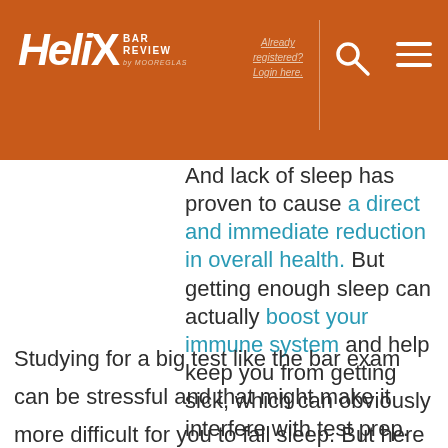Helix Bar Review by Hoojsilik — Already registered? Login here.
And lack of sleep has proven to cause a direct and immediate reduction in overall health. But getting enough sleep can actually boost your immune system and help keep you from getting sick, which can obviously interfere with test prep.
Studying for a big test like the bar exam can be stressful and that might make it more difficult for you to fall sleep. But here are several tips